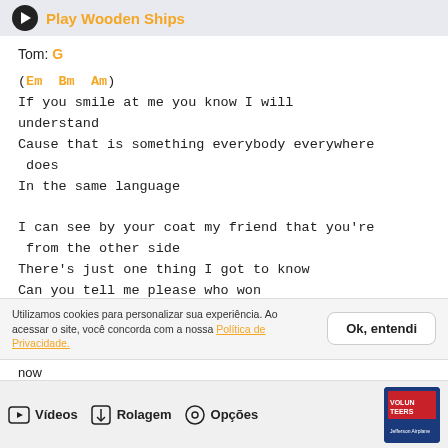Play Wooden Ships
Tom: G
(Em  Bm  Am)
If you smile at me you know I will understand
Cause that is something everybody everywhere does
In the same language

I can see by your coat my friend that you're from the other side
There's just one thing I got to know
Can you tell me please who won
Utilizamos cookies para personalizar sua experiência. Ao acessar o site, você concorda com a nossa Política de Privacidade.
Ok, entendi
now
Vídeos  Rolagem  Opções